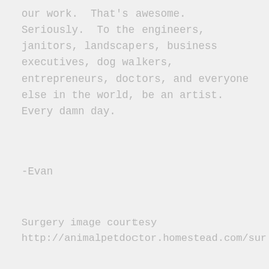our work.  That's awesome.  Seriously.  To the engineers, janitors, landscapers, business executives, dog walkers, entrepreneurs, doctors, and everyone else in the world, be an artist.  Every damn day.
-Evan
Surgery image courtesy http://animalpetdoctor.homestead.com/sur